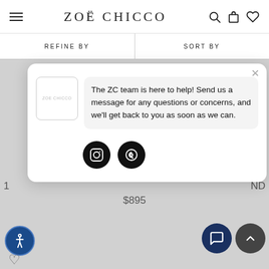ZOË CHICCO
REFINE BY
SORT BY
[Figure (screenshot): Chat modal popup with Zoë Chicco logo avatar, message bubble reading 'The ZC team is here to help! Send us a message for any questions or concerns, and we'll get back to you as soon as we can.', and two social media icon buttons (Instagram and email).]
$895